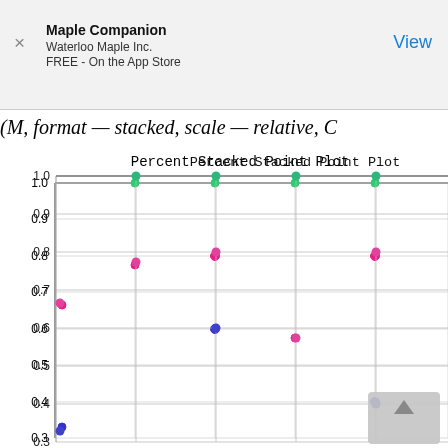Maple Companion
Waterloo Maple Inc.
FREE - On the App Store
(M, format — stacked, scale — relative, C
[Figure (continuous-plot): A percent stacked point plot showing colored dots (pink, blue, green) at various y-values (ranging from about 0.3 to 1.0) across multiple x positions. Green dots appear at y=1.0, pink dots at approximately y=0.775, 0.80, 0.80, pink at y=0.665, blue at y=0.60, pink at y=0.575, blue at y=0.40, blue at y=0.33. Y-axis labeled from 0.3 to 1.0 in increments of 0.1. Grid lines visible. A scroll control is partially visible at lower right.]